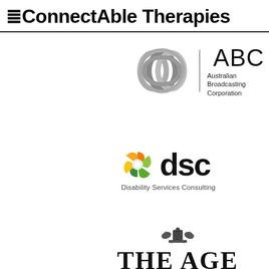ConnectAble Therapies
[Figure (logo): ABC Australian Broadcasting Corporation logo with three interlocking silver rings and text 'ABC Australian Broadcasting Corporation']
[Figure (logo): DSC Disability Services Consulting logo with colorful hexagonal swirl icon and bold 'dsc' text, subtitle 'Disability Services Consulting']
[Figure (logo): The Age newspaper logo with decorative crest above the text 'THE AGE' in serif font]